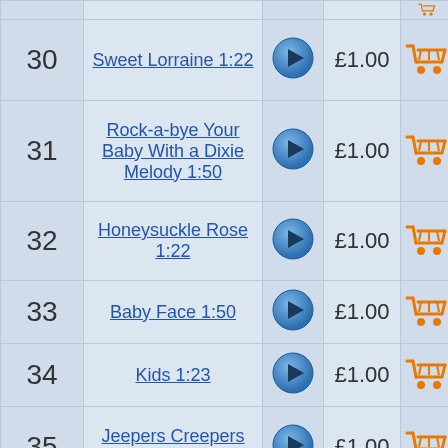| # | Title | Play | Price | Buy |
| --- | --- | --- | --- | --- |
| 30 | Sweet Lorraine 1:22 |  | £1.00 |  |
| 31 | Rock-a-bye Your Baby With a Dixie Melody 1:50 |  | £1.00 |  |
| 32 | Honeysuckle Rose 1:22 |  | £1.00 |  |
| 33 | Baby Face 1:50 |  | £1.00 |  |
| 34 | Kids 1:23 |  | £1.00 |  |
| 35 | Jeepers Creepers 1:51 |  | £1.00 |  |
| 36 | When I'm Sixty Four 1:26 |  | £1.00 |  |